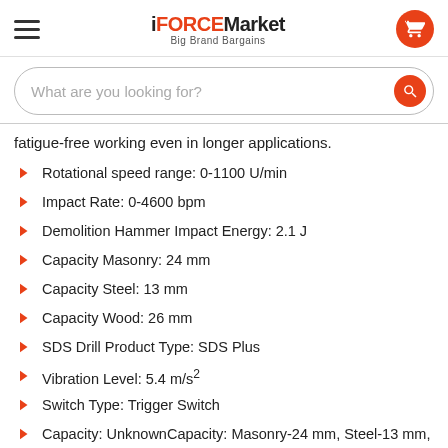iFORCE Market – Big Brand Bargains
fatigue-free working even in longer applications.
Rotational speed range: 0-1100 U/min
Impact Rate: 0-4600 bpm
Demolition Hammer Impact Energy: 2.1 J
Capacity Masonry: 24 mm
Capacity Steel: 13 mm
Capacity Wood: 26 mm
SDS Drill Product Type: SDS Plus
Vibration Level: 5.4 m/s²
Switch Type: Trigger Switch
Capacity: UnknownCapacity: Masonry-24 mm, Steel-13 mm, Wood-26 mm
Features: Anti-Vibration System, Brushless Motor, High Performance, Electronic Brake